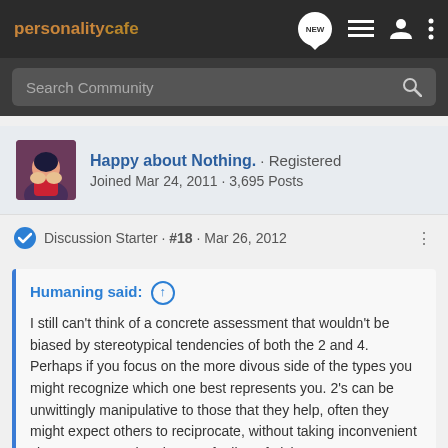personality cafe
Search Community
Happy about Nothing. · Registered
Joined Mar 24, 2011 · 3,695 Posts
Discussion Starter · #18 · Mar 26, 2012
Humaning said: ↑
I still can't think of a concrete assessment that wouldn't be biased by stereotypical tendencies of both the 2 and 4. Perhaps if you focus on the more divous side of the types you might recognize which one best represents you. 2's can be unwittingly manipulative to those that they help, often they might expect others to reciprocate, without taking inconvenient circumstances. The pleasant feeling of giving can be an extension of thinking that the emotional investment in the
Click to expand...